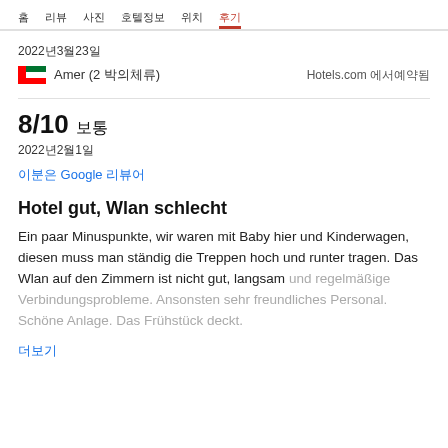홈  리뷰  사진  호텔정보  위치  후기
2022년3월23일
🇦🇪 Amer (2 박의체류)
Hotels.com 에서예약됨
8/10 보통
2022년2월1일
이분은 Google 리뷰어
Hotel gut, Wlan schlecht
Ein paar Minuspunkte, wir waren mit Baby hier und Kinderwagen, diesen muss man ständig die Treppen hoch und runter tragen. Das Wlan auf den Zimmern ist nicht gut, langsam und regelmäßige Verbindungsprobleme. Ansonsten sehr freundliches Personal. Schöne Anlage. Das Frühstück deckt.
더보기